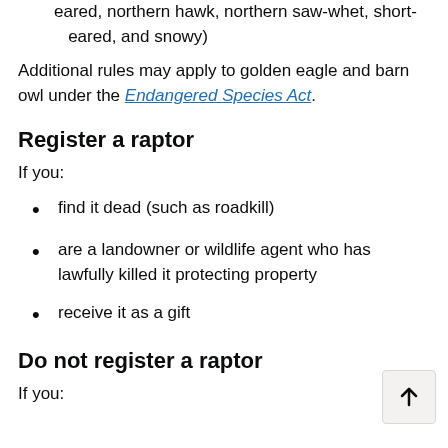eared, northern hawk, northern saw-whet, short-eared, and snowy)
Additional rules may apply to golden eagle and barn owl under the Endangered Species Act.
Register a raptor
If you:
find it dead (such as roadkill)
are a landowner or wildlife agent who has lawfully killed it protecting property
receive it as a gift
Do not register a raptor
If you: